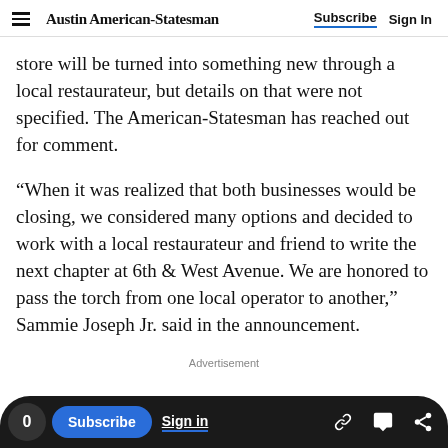Austin American-Statesman  Subscribe  Sign In
store will be turned into something new through a local restaurateur, but details on that were not specified. The American-Statesman has reached out for comment.
“When it was realized that both businesses would be closing, we considered many options and decided to work with a local restaurateur and friend to write the next chapter at 6th & West Avenue. We are honored to pass the torch from one local operator to another,” Sammie Joseph Jr. said in the announcement.
Advertisement
0  Subscribe  Sign in